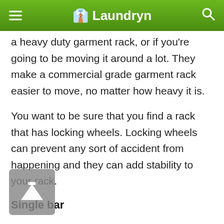Laundryn
a heavy duty garment rack, or if you're going to be moving it around a lot. They make a commercial grade garment rack easier to move, no matter how heavy it is.
You want to be sure that you find a rack that has locking wheels. Locking wheels can prevent any sort of accident from happening and they can add stability to your rack.
Single bar